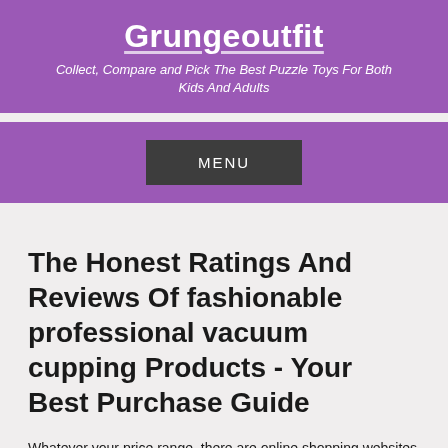Grungeoutfit
Collect, Compare and Pick The Best Puzzle Toys For Both Kids And Adults
MENU
The Honest Ratings And Reviews Of fashionable professional vacuum cupping Products - Your Best Purchase Guide
Whatever your price range, there are online shopping websites